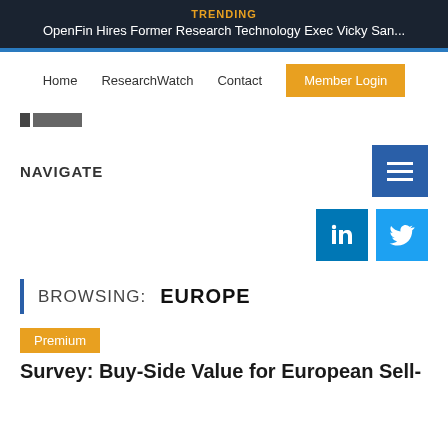TRENDING
OpenFin Hires Former Research Technology Exec Vicky San...
Home   ResearchWatch   Contact   Member Login
[Figure (logo): Small logo placeholder]
NAVIGATE
[Figure (infographic): Hamburger menu button and social media icons for LinkedIn and Twitter]
BROWSING: EUROPE
Premium
Survey: Buy-Side Value for European Sell-